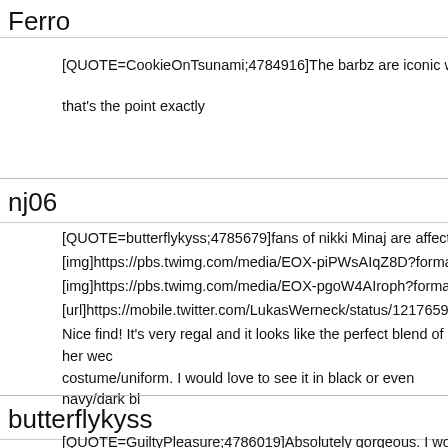Ferro
[QUOTE=CookieOnTsunami;4784916]The barbz are iconic wbk[/QU
that's the point exactly
nj06
[QUOTE=butterflykyss;4785679]fans of nikki Minaj are affectionatel
[img]https://pbs.twimg.com/media/EOX-piPWsAIqZ8D?format=jpg&
[img]https://pbs.twimg.com/media/EOX-pgoW4AIroph?format=jpg&n
[url]https://mobile.twitter.com/LukasWerneck/status/1217659282688
Nice find! It's very regal and it looks like the perfect blend of her wec costume/uniform. I would love to see it in black or even navy/dark bl
butterflykyss
[QUOTE=GuiltyPleasure;4786019]Absolutely gorgeous. I would lov